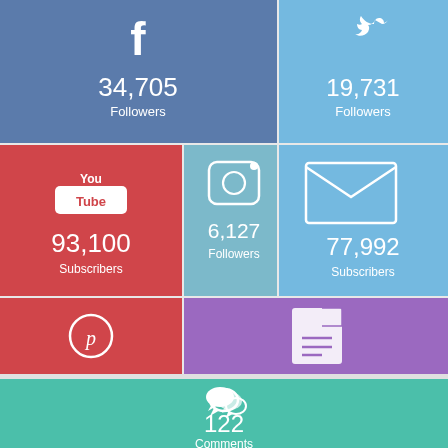[Figure (infographic): Social media stats infographic with colored tiles: Facebook 34,705 Followers, Twitter 19,731 Followers, YouTube 93,100 Subscribers, Instagram 6,127 Followers, Email 77,992 Subscribers, Pinterest 2,278 Followers, Recent Posts 368, Comments 122]
[Figure (photo): Partial photo strip at the bottom of the page]